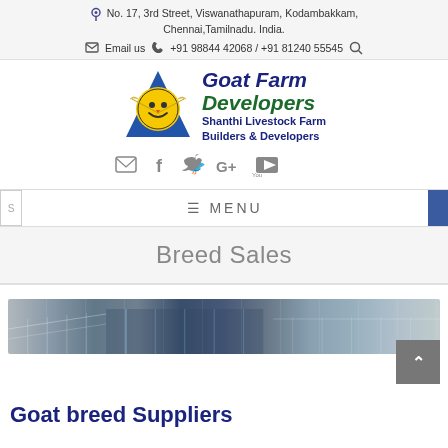No. 17, 3rd Street, Viswanathapuram, Kodambakkam, Chennai,Tamilnadu. India.
Email us  +91 98844 42068 / +91 81240 55545
[Figure (logo): Goat Farm Developers logo with smiley face inside triangle, with birds, and text: Goat Farm Developers, Shanthi Livestock Farm Builders & Developers]
[Figure (infographic): Social media icons: email, facebook, twitter, google+, youtube]
≡ MENU
Breed Sales
[Figure (photo): Panoramic photo of a livestock farm facility with open-sided sheds and farm structures]
Goat breed Suppliers